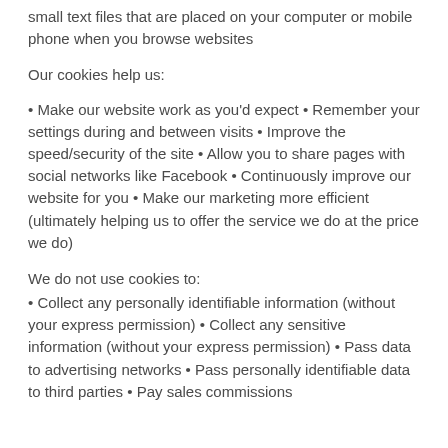small text files that are placed on your computer or mobile phone when you browse websites
Our cookies help us:
Make our website work as you'd expect • Remember your settings during and between visits • Improve the speed/security of the site • Allow you to share pages with social networks like Facebook • Continuously improve our website for you • Make our marketing more efficient (ultimately helping us to offer the service we do at the price we do)
We do not use cookies to:
Collect any personally identifiable information (without your express permission) • Collect any sensitive information (without your express permission) • Pass data to advertising networks • Pass personally identifiable data to third parties • Pay sales commissions